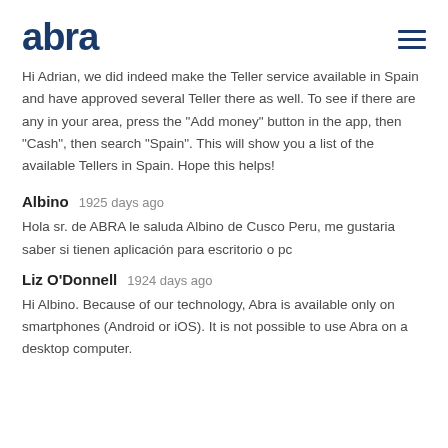[Figure (logo): Abra logo in dark navy blue bold text with hamburger menu icon on the right]
Hi Adrian, we did indeed make the Teller service available in Spain and have approved several Teller there as well. To see if there are any in your area, press the “Add money” button in the app, then “Cash”, then search “Spain”. This will show you a list of the available Tellers in Spain. Hope this helps!
Albino   1925 days ago
Hola sr. de ABRA le saluda Albino de Cusco Peru, me gustaria saber si tienen aplicación para escritorio o pc
Liz O’Donnell   1924 days ago
Hi Albino. Because of our technology, Abra is available only on smartphones (Android or iOS). It is not possible to use Abra on a desktop computer.